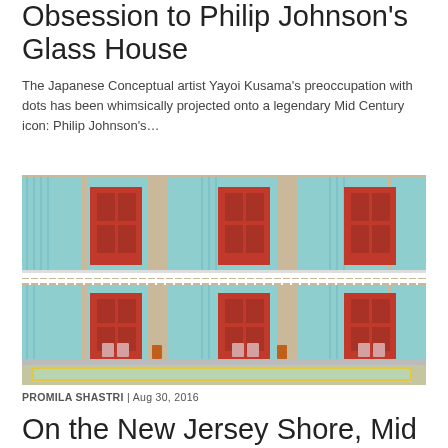Obsession to Philip Johnson's Glass House
The Japanese Conceptual artist Yayoi Kusama's preoccupation with dots has been whimsically projected onto a legendary Mid Century icon: Philip Johnson's…
[Figure (photo): Photograph of a two-story motel exterior with red doors, teal/aqua curtains, white railings, and a small pool area in the foreground]
PROMILA SHASTRI | Aug 30, 2016
On the New Jersey Shore, Mid